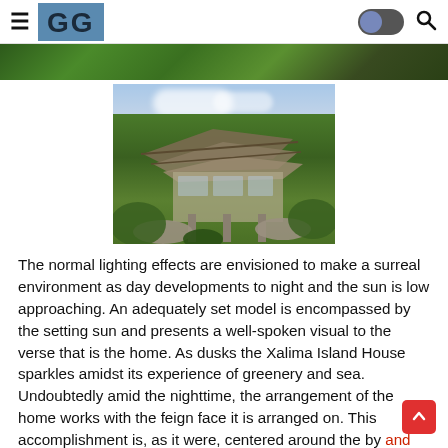≡ GG [logo] [dark mode toggle] [search icon]
[Figure (photo): Top strip showing aerial/landscape view of lush greenery]
[Figure (photo): Centered architectural rendering of a modern house with layered flat roofs surrounded by tropical vegetation and rocky terrain]
The normal lighting effects are envisioned to make a surreal environment as day developments to night and the sun is low approaching. An adequately set model is encompassed by the setting sun and presents a well-spoken visual to the verse that is the home. As dusks the Xalima Island House sparkles amidst its experience of greenery and sea. Undoubtedly amid the nighttime, the arrangement of the home works with the feign face it is arranged on. This accomplishment is, as it were, centered around the by and large arranged vegetation inside the various voids of the home. The straight voids of the home, describing every one